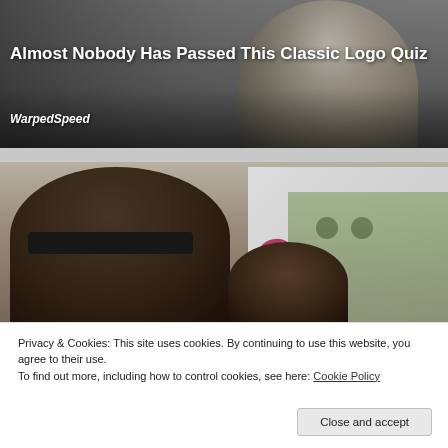[Figure (photo): Photo of a person in period costume with white wig, used as background for an advertisement card]
Almost Nobody Has Passed This Classic Logo Quiz
WarpedSpeed
[Figure (photo): Selfie photo of a man wearing dark sunglasses and black cap with a child, taken outdoors near a vehicle]
Privacy & Cookies: This site uses cookies. By continuing to use this website, you agree to their use.
To find out more, including how to control cookies, see here: Cookie Policy
Close and accept